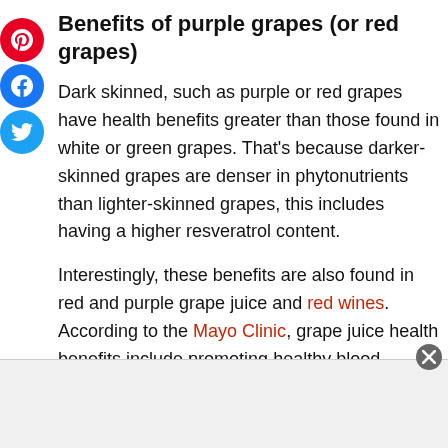Benefits of purple grapes (or red grapes)
Dark skinned, such as purple or red grapes have health benefits greater than those found in white or green grapes. That's because darker-skinned grapes are denser in phytonutrients than lighter-skinned grapes, this includes having a higher resveratrol content.
Interestingly, these benefits are also found in red and purple grape juice and red wines. According to the Mayo Clinic, grape juice health benefits include promoting healthy blood pressure and heart health.